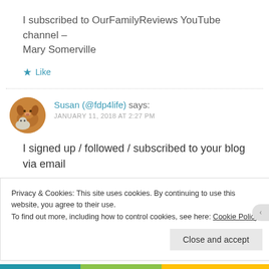I subscribed to OurFamilyReviews YouTube channel – Mary Somerville
Like
Susan (@fdp4life) says:
JANUARY 11, 2018 AT 2:27 PM
I signed up / followed / subscribed to your blog via email
Privacy & Cookies: This site uses cookies. By continuing to use this website, you agree to their use.
To find out more, including how to control cookies, see here: Cookie Policy
Close and accept